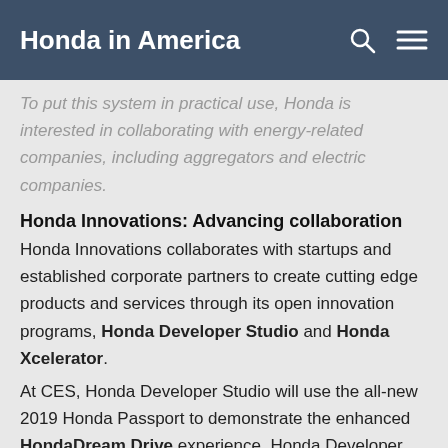Honda in America
To put this system in practical use, Honda is interested in collaborating with energy-related companies, including aggregators and electric companies.
Honda Innovations: Advancing collaboration
Honda Innovations collaborates with startups and established corporate partners to create cutting edge products and services through its open innovation programs, Honda Developer Studio and Honda Xcelerator.
At CES, Honda Developer Studio will use the all-new 2019 Honda Passport to demonstrate the enhanced HondaDream Drive experience. Honda Developer Studio and DreamWorks Animation teamed up to produce Honda Dream Drive, a